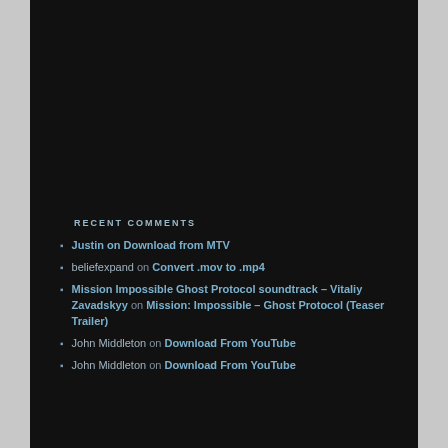RECENT COMMENTS
Justin on Download from MTV
beliefexpand on Convert .mov to .mp4
Mission Impossible Ghost Protocol soundtrack – Vitaliy Zavadskyy on Mission: Impossible – Ghost Protocol (Teaser Trailer)
John Middleton on Download From YouTube
John Middleton on Download From YouTube